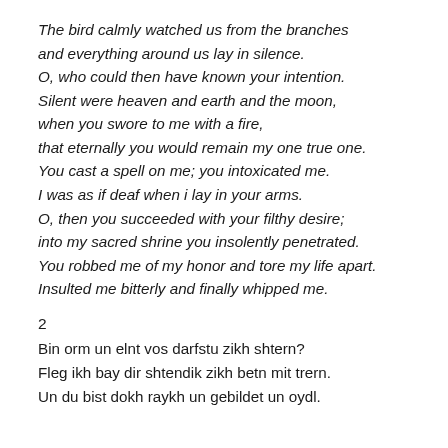The bird calmly watched us from the branches
and everything around us lay in silence.
O, who could then have known your intention.
Silent were heaven and earth and the moon,
when you swore to me with a fire,
that eternally you would remain my one true one.
You cast a spell on me; you intoxicated me.
I was as if deaf when i lay in your arms.
O, then you succeeded with your filthy desire;
into my sacred shrine you insolently penetrated.
You robbed me of my honor and tore my life apart.
Insulted me bitterly and finally whipped me.
2
Bin orm un elnt vos darfstu zikh shtern?
Fleg ikh bay dir shtendik zikh betn mit trern.
Un du bist dokh raykh un gebildet un oydl.